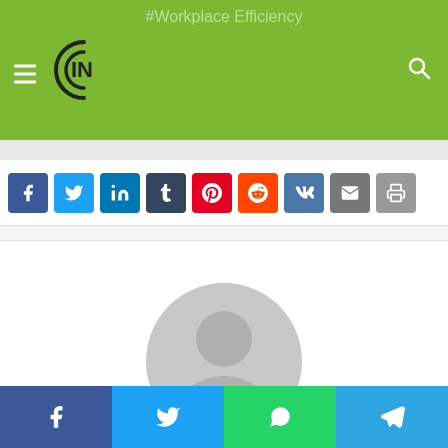#Workplace Efficiency — CIN Blog website header with hamburger menu and search icon
[Figure (screenshot): Row of social share icon buttons: Facebook (blue), Twitter (light blue), LinkedIn (dark blue), Tumblr (dark), Pinterest (red), Reddit (orange-red), VK (blue), Email (grey), Print (grey)]
[Figure (photo): Default user avatar placeholder in grey showing silhouette of a person (head and shoulders)]
shaman
Related Articles
[Figure (screenshot): Bottom social sharing bar with Facebook, Twitter, WhatsApp, and Telegram buttons]